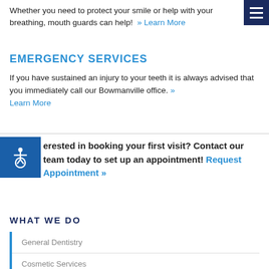Whether you need to protect your smile or help with your breathing, mouth guards can help!  » Learn More
EMERGENCY SERVICES
If you have sustained an injury to your teeth it is always advised that you immediately call our Bowmanville office. » Learn More
[Figure (other): Accessibility icon in blue square]
erested in booking your first visit? Contact our team today to set up an appointment! Request Appointment »
WHAT WE DO
General Dentistry
Cosmetic Services